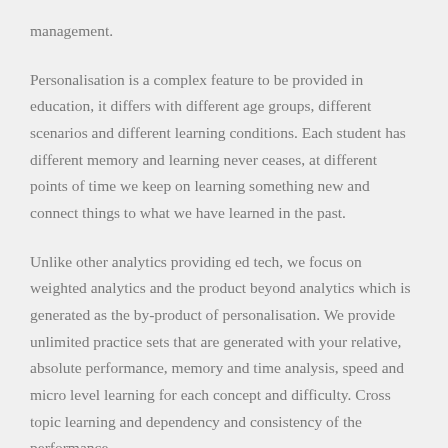management.
Personalisation is a complex feature to be provided in education, it differs with different age groups, different scenarios and different learning conditions. Each student has different memory and learning never ceases, at different points of time we keep on learning something new and connect things to what we have learned in the past.
Unlike other analytics providing ed tech, we focus on weighted analytics and the product beyond analytics which is generated as the by-product of personalisation. We provide unlimited practice sets that are generated with your relative, absolute performance, memory and time analysis, speed and micro level learning for each concept and difficulty. Cross topic learning and dependency and consistency of the performance.